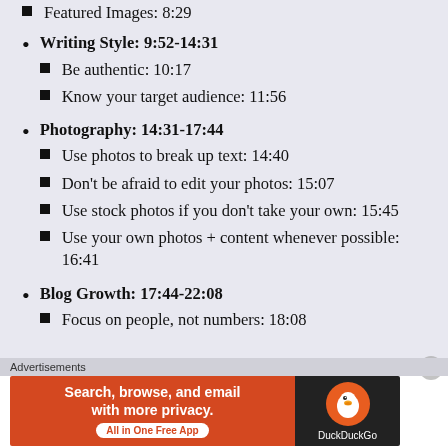Featured Images: 8:29
Writing Style: 9:52-14:31
Be authentic: 10:17
Know your target audience: 11:56
Photography: 14:31-17:44
Use photos to break up text: 14:40
Don’t be afraid to edit your photos: 15:07
Use stock photos if you don’t take your own: 15:45
Use your own photos + content whenever possible: 16:41
Blog Growth: 17:44-22:08
Focus on people, not numbers: 18:08
Advertisements
[Figure (other): DuckDuckGo advertisement banner: orange left panel with text 'Search, browse, and email with more privacy. All in One Free App' and dark right panel with DuckDuckGo duck logo and brand name.]